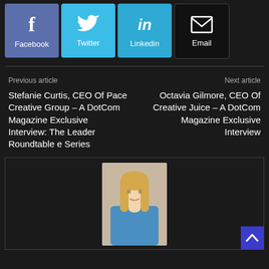[Figure (other): Social share buttons row: Facebook (blue-purple), Twitter (light blue), Linkedin (teal-blue), Email (black)]
Previous article
Stefanie Curtis, CEO Of Pace Creative Group – A DotCom Magazine Exclusive Interview: The Leader Roundtable e Series
Next article
Octavia Gilmore, CEO Of Creative Juice – A DotCom Magazine Exclusive Interview
[Figure (photo): Photo of a woman with long blonde hair wearing a blue top, posed with hand near chin, background appears light/beige]